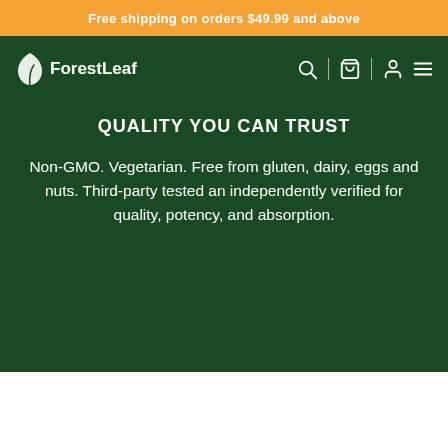Free shipping on orders $49.99 and above
[Figure (logo): ForestLeaf logo with leaf icon and navigation icons (search, cart, user, menu) on dark green navbar]
QUALITY YOU CAN TRUST
Non-GMO. Vegetarian. Free from gluten, dairy, eggs and nuts. Third-party tested an independently verified for quality, potency, and absorption.